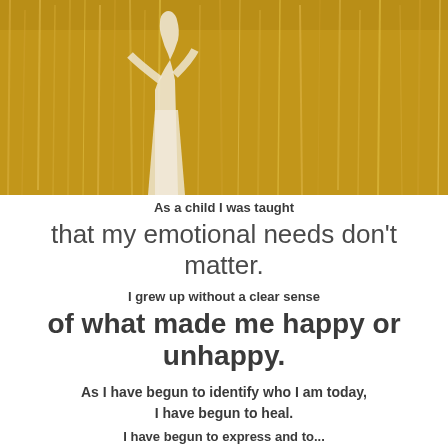[Figure (photo): A person in white clothing standing in a golden wheat or tall grass field, photographed from behind, sunny outdoor scene with warm golden tones.]
As a child I was taught that my emotional needs don't matter. I grew up without a clear sense of what made me happy or unhappy. As I have begun to identify who I am today, I have begun to heal. I have begun to express and to...